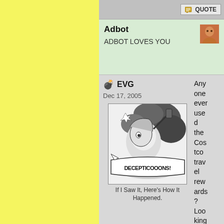QUOTE
Adbot
ADBOT LOVES YOU
EVG
Dec 17, 2005
[Figure (illustration): Black and white comic-style illustration with text 'DECEPTICOOONS!' showing a dramatic action scene]
If I Saw It, Here's How It Happened.
Anyone ever used the Costco travel rewards? Looking at